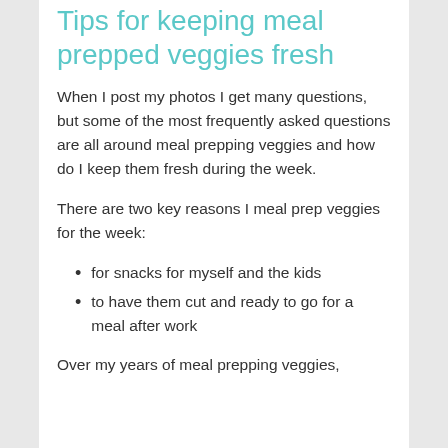Tips for keeping meal prepped veggies fresh
When I post my photos I get many questions, but some of the most frequently asked questions are all around meal prepping veggies and how do I keep them fresh during the week.
There are two key reasons I meal prep veggies for the week:
for snacks for myself and the kids
to have them cut and ready to go for a meal after work
Over my years of meal prepping veggies,